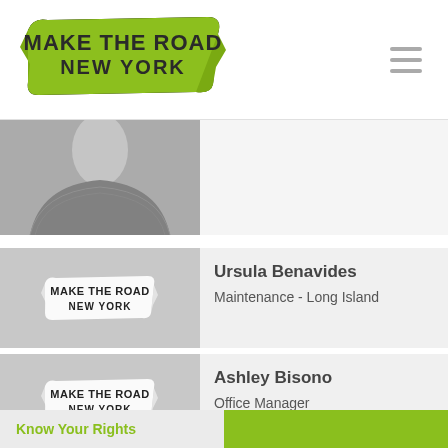[Figure (logo): Make The Road New York green banner logo]
[Figure (photo): Black and white cropped photo showing person's neck and sweater]
Ursula Benavides
Maintenance - Long Island
[Figure (logo): Make The Road New York logo placeholder on gray background]
Ashley Bisono
Office Manager
[Figure (logo): Make The Road New York logo placeholder on gray background]
Know Your Rights